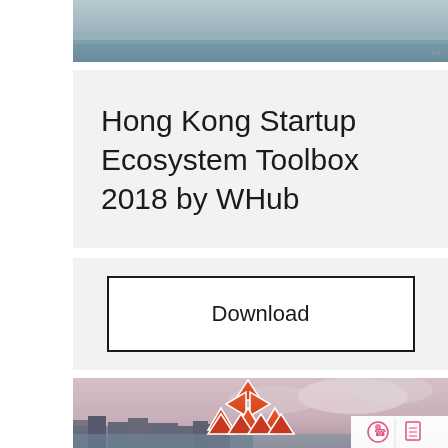[Figure (photo): Aerial or waterfront photo of Hong Kong harbor, showing water with boats, top portion cropped]
Hong Kong Startup Ecosystem Toolbox 2018 by WHHub
Download
[Figure (photo): Aerial photo of Hong Kong cityscape with WHHub logo (orange/red triangular pattern arranged in a tree/pyramid shape) overlaid in center, and contact icons in bottom right corner]